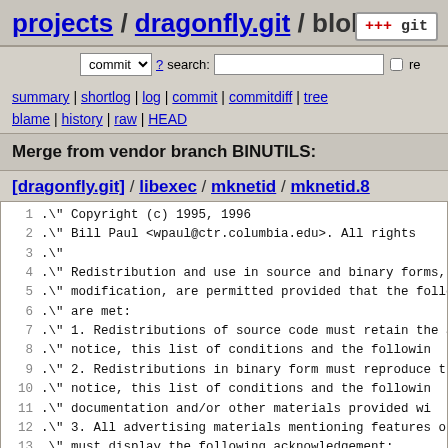projects / dragonfly.git / blob
commit ? search: re
summary | shortlog | log | commit | commitdiff | tree blame | history | raw | HEAD
Merge from vendor branch BINUTILS:
[dragonfly.git] / libexec / mknetid / mknetid.8
1  .\" Copyright (c) 1995, 1996
2  .\"      Bill Paul <wpaul@ctr.columbia.edu>.  All rights
3  .\"
4  .\" Redistribution and use in source and binary forms,
5  .\" modification, are permitted provided that the follo
6  .\" are met:
7  .\" 1. Redistributions of source code must retain the a
8  .\"      notice, this list of conditions and the followin
9  .\" 2. Redistributions in binary form must reproduce th
10 .\"      notice, this list of conditions and the followin
11 .\"      documentation and/or other materials provided wi
12 .\" 3. All advertising materials mentioning features or
13 .\"      must display the following acknowledgement:
14 .\"       This product includes software developed by Bi
15 .\" 4. Neither the name of the University nor the names
16 .\"      may be used to endorse or promote products deriv
17 .\"      without specific prior written permission.
18 .\"
19 .\" THIS SOFTWARE IS PROVIDED BY Bill Paul AND CONTRIB